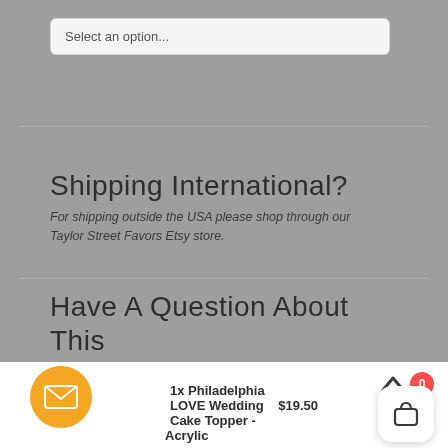Select an option...
Shipping International?
For shipping outside the USA please shop through our Taylor Street Favors Etsy store.
Have A Question About This Item?
How Can We Help? »
1x Philadelphia LOVE Wedding Cake Topper - Acrylic   $19.50